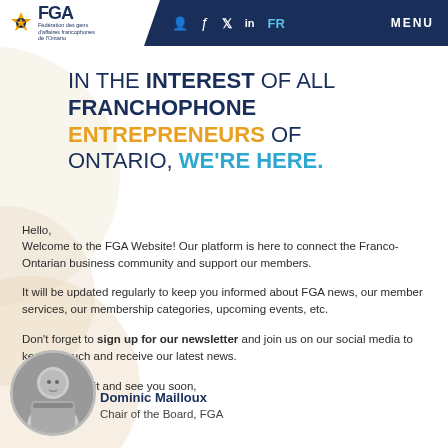FGA – Fédération des gens d'affaires francophones de l'Ontario | FR | MENU
IN THE INTEREST OF ALL FRANCHOPHONE ENTREPRENEURS OF ONTARIO, WE'RE HERE.
Hello,
Welcome to the FGA Website! Our platform is here to connect the Franco-Ontarian business community and support our members.
It will be updated regularly to keep you informed about FGA news, our member services, our membership categories, upcoming events, etc.
Don't forget to sign up for our newsletter and join us on our social media to keep in touch and receive our latest news.
Enjoy your visit and see you soon,
[Figure (photo): Portrait photo of Dominic Mailloux, Chair of the Board of FGA]
Dominic Mailloux
Chair of the Board, FGA